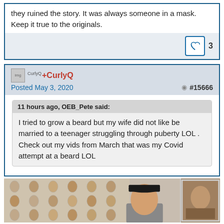they ruined the story. It was always someone in a mask. Keep it true to the originals.
3 likes
+CurlyQ
Posted May 3, 2020
#15666
11 hours ago, OEB_Pete said:
I tried to grow a beard but my wife did not like be married to a teenager struggling through puberty LOL . Check out my vids from March that was my Covid attempt at a beard LOL
[Figure (photo): A photo showing a person wearing a black cap in the center, surrounded by a grid of face photos on the left and a framed portrait photo on the right.]